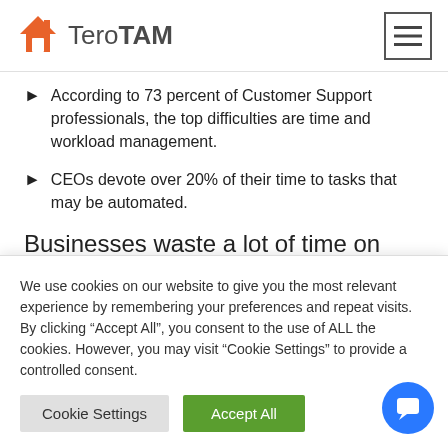TeroTAM
According to 73 percent of Customer Support professionals, the top difficulties are time and workload management.
CEOs devote over 20% of their time to tasks that may be automated.
Businesses waste a lot of time on manual, redundant processes that could be automated. You should
We use cookies on our website to give you the most relevant experience by remembering your preferences and repeat visits. By clicking "Accept All", you consent to the use of ALL the cookies. However, you may visit "Cookie Settings" to provide a controlled consent.